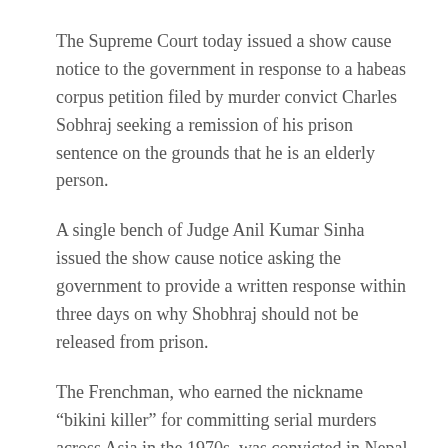The Supreme Court today issued a show cause notice to the government in response to a habeas corpus petition filed by murder convict Charles Sobhraj seeking a remission of his prison sentence on the grounds that he is an elderly person.
A single bench of Judge Anil Kumar Sinha issued the show cause notice asking the government to provide a written response within three days on why Shobhraj should not be released from prison.
The Frenchman, who earned the nickname “bikini killer” for committing serial murders across Asia in the 1970s, was convicted in Nepal for two murders and has been in prison here since 2003.
Sobhraj’s attorney, lawyer Shakuntala Thapa, told THT that her client, who was 77, had filed a habeas corpus petition with the SC, because even after the Supreme Court ordered the government there was three years to ask him to rule within three months on